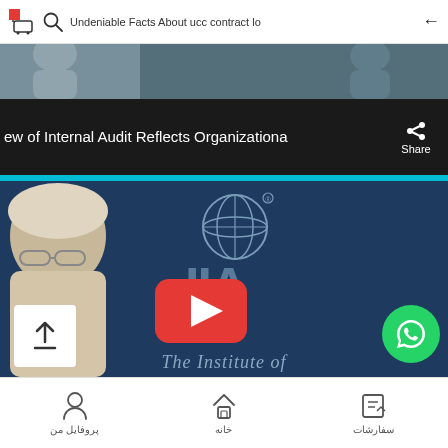Undeniable Facts About ucc contract lo
[Figure (screenshot): Partial image strip showing a person and background, cropped at the top]
ew of Internal Audit Reflects Organizationa
[Figure (screenshot): YouTube video thumbnail featuring a speaker and IIA (Institute of Internal Auditors) logo with YouTube play button. Text: The Institute of]
پروفایل من   خانه   سفارشات